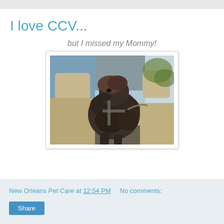I love CCV...
but I missed my Mommy!
[Figure (photo): A dog sitting in the back seat of a car, secured with a harness/leash, looking out the window. The dog has curly dark fur and appears to be a poodle mix. The car interior shows beige/tan seats.]
New Orleans Pet Care at 12:54 PM   No comments: